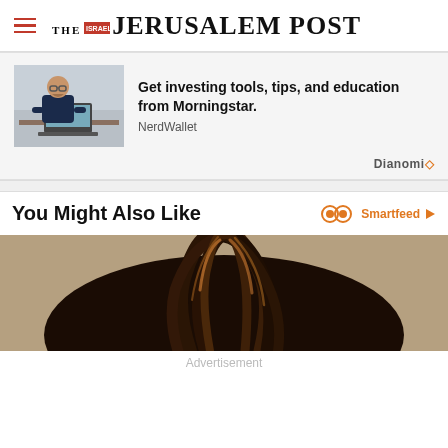THE JERUSALEM POST
[Figure (infographic): Advertisement: Man at laptop with text 'Get investing tools, tips, and education from Morningstar. NerdWallet' - Dianomi ad]
You Might Also Like
[Figure (photo): Close-up photo of a person with dreadlocks viewed from above/behind]
Advertisement